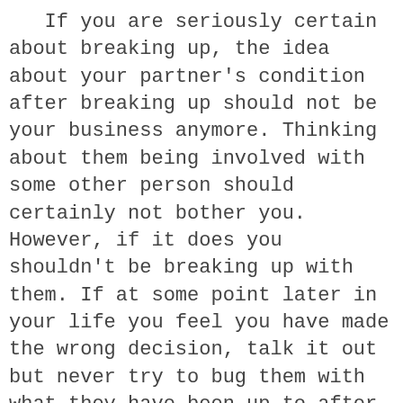If you are seriously certain about breaking up, the idea about your partner's condition after breaking up should not be your business anymore. Thinking about them being involved with some other person should certainly not bother you. However, if it does you shouldn't be breaking up with them. If at some point later in your life you feel you have made the wrong decision, talk it out but never try to bug them with what they have been up to after the break up. Remember, you have broken up with them; their life is certainly not your business anymore.
For some, it is not easy to tell the person that they want to breakup although they need the break desperately. Do not, ever, make a mistake of talking about such matters via text messaging